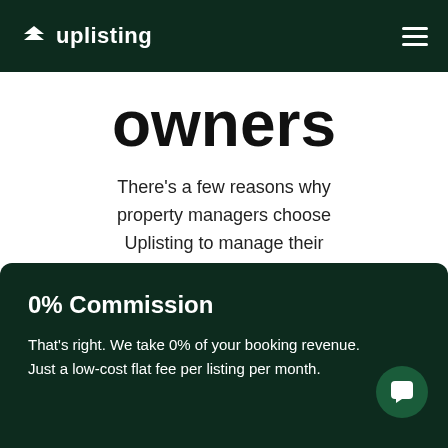uplisting
owners
There’s a few reasons why property managers choose Uplisting to manage their listings:
0% Commission
That’s right. We take 0% of your booking revenue. Just a low-cost flat fee per listing per month.